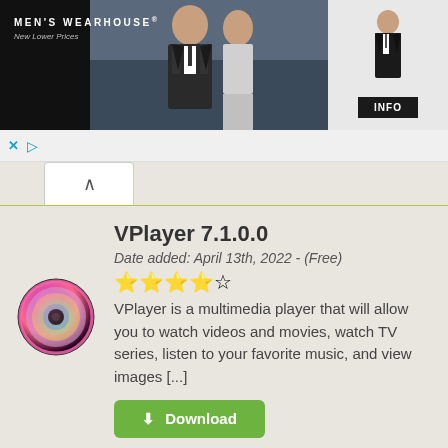[Figure (screenshot): Men's Wearhouse advertisement banner with couple in formal wear]
VPlayer 7.1.0.0
Date added: April 13th, 2022 - (Free)
[Figure (illustration): VPlayer app icon - colorful disc/CD graphic]
VPlayer is a multimedia player that will allow you to watch videos and movies, watch TV series, listen to your favorite music, and view images [...]
Download
OpenShot 2.5.1